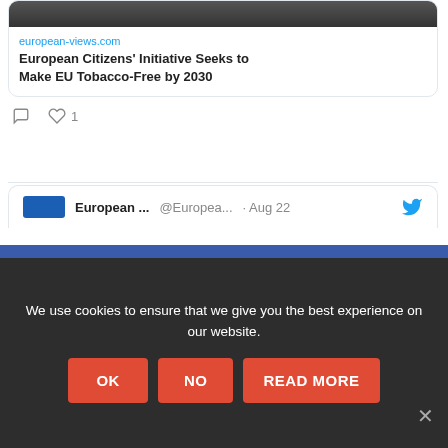[Figure (screenshot): Link preview card showing european-views.com article image (dark photo) with title 'European Citizens' Initiative Seeks to Make EU Tobacco-Free by 2030']
european-views.com
European Citizens' Initiative Seeks to Make EU Tobacco-Free by 2030
1 like, comment icon
European ... @Europea... · Aug 22
[Figure (screenshot): Blue newsletter signup section with yellow envelope icon and text 'Join our mailing list and never miss an']
Join our mailing list and never miss an
We use cookies to ensure that we give you the best experience on our website.
OK
NO
READ MORE